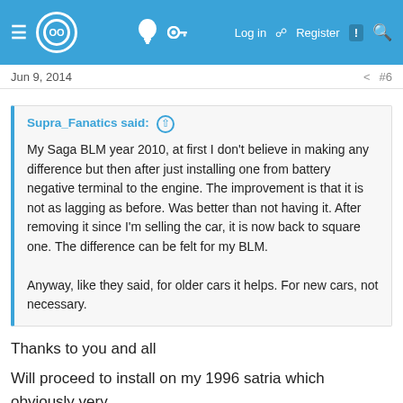≡ [logo] 💡 🔑 Log in 📋 Register 💬 🔍
Jun 9, 2014   ↗ #6
Supra_Fanatics said: ⊕

My Saga BLM year 2010, at first I don't believe in making any difference but then after just installing one from battery negative terminal to the engine. The improvement is that it is not as lagging as before. Was better than not having it. After removing it since I'm selling the car, it is now back to square one. The difference can be felt for my BLM.

Anyway, like they said, for older cars it helps. For new cars, not necessary.
Thanks to you and all
Will proceed to install on my 1996 satria which obviously very